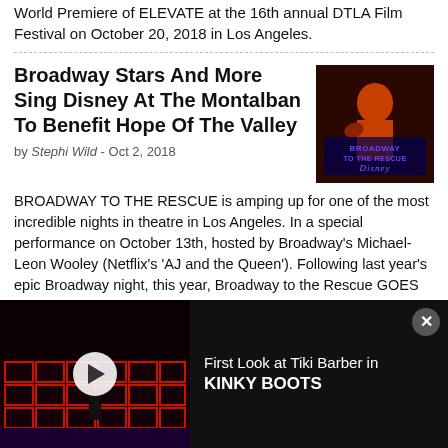World Premiere of ELEVATE at the 16th annual DTLA Film Festival on October 20, 2018 in Los Angeles.
Broadway Stars And More Sing Disney At The Montalban To Benefit Hope Of The Valley
by Stephi Wild - Oct 2, 2018
[Figure (photo): Performer on stage wearing orange outfit with Broadway to the Rescue Disney logo/text overlay]
BROADWAY TO THE RESCUE is amping up for one of the most incredible nights in theatre in Los Angeles. In a special performance on October 13th, hosted by Broadway's Michael-Leon Wooley (Netflix's 'AJ and the Queen'). Following last year's epic Broadway night, this year, Broadway to the Rescue GOES DISNEY. On this special night, 25 of Broadway's brightest and best, along with an ensemble of over 50 performers, will take to the stage to sing songs and create show-stopping
[Figure (screenshot): Ad banner: First Look at Tiki Barber in KINKY BOOTS video thumbnail showing dark stage with red geometric set pieces and a play button]
First Look at Tiki Barber in KINKY BOOTS